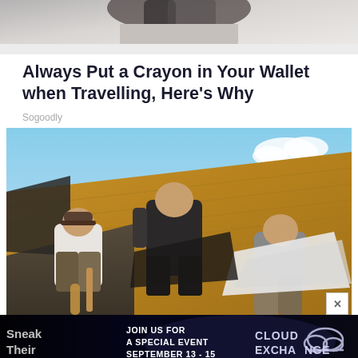[Figure (photo): Partial image at top of page showing a hand or dark object against a light background, cropped]
Always Put a Crayon in Your Wallet when Travelling, Here's Why
Sogoodly
[Figure (photo): Three workers on a roof, removing or laying roofing material on a wooden roof deck. One worker is centered and bending over, one is on the left wearing a cap and carrying tools, and one is on the right handling white roofing material. Blue sky visible in the background.]
[Figure (screenshot): Advertisement banner: black background with text 'JOIN US FOR A SPECIAL EVENT SEPTEMBER 13 - 15' in white bold uppercase letters, and 'CLOUD EXCHANGE' logo on the right side with cloud icon. Partially obscured sneak-peek text on the left reading 'Sneak' and 'Their']